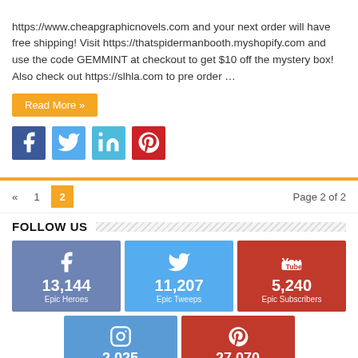https://www.cheapgraphicnovels.com and your next order will have free shipping! Visit https://thatspidermanbooth.myshopify.com and use the code GEMMINT at checkout to get $10 off the mystery box! Also check out https://slhla.com to pre order …
Read More »
[Figure (infographic): Social share buttons: Facebook (blue), Twitter (light blue), LinkedIn (teal), Pinterest (red)]
« 1 2   Page 2 of 2
FOLLOW US
[Figure (infographic): Social media follower counts: Facebook 13,144 Epic Heroes, Twitter 11,207 Epic Tweeps, YouTube 5,240 Epic Subscribers, Instagram 2,025 (partial), Pinterest 27,070 (partial)]